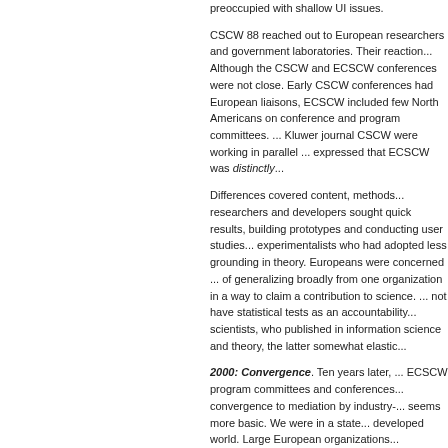preoccupied with shallow UI issues.
CSCW 88 reached out to European researchers and government laboratories. Their reaching out... Although the CSCW and ECSCW conferences were not close. Early CSCW conferences had European liaisons, ECSCW included few North Americans on conference and program committees. ... Kluwer journal CSCW were working in parallel ... expressed that ECSCW was distinctly ...
Differences covered content, methods... researchers and developers sought quick results, building prototypes and conducting user studies... experimentalists who had adopted less grounding in theory. Europeans were concerned ... of generalizing broadly from one organization... way to claim a contribution to science. ... not have statistical tests as an accountability... scientists, who published in information science and theory, the latter somewhat elastic...
2000: Convergence. Ten years later, ... ECSCW program committees and conferences... convergence to mediation by industry-... seems more basic. We were in a state... developed world. Large European organizations...